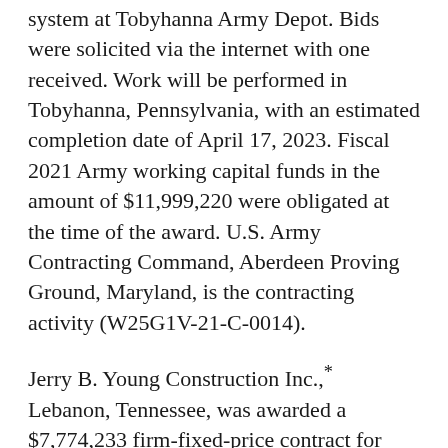system at Tobyhanna Army Depot. Bids were solicited via the internet with one received. Work will be performed in Tobyhanna, Pennsylvania, with an estimated completion date of April 17, 2023. Fiscal 2021 Army working capital funds in the amount of $11,999,220 were obligated at the time of the award. U.S. Army Contracting Command, Aberdeen Proving Ground, Maryland, is the contracting activity (W25G1V-21-C-0014).
Jerry B. Young Construction Inc.,* Lebanon, Tennessee, was awarded a $7,774,233 firm-fixed-price contract for furnishing all plant, labor and materials for seepage remediation and